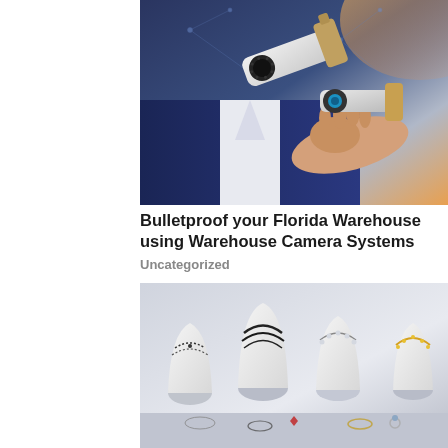[Figure (photo): A person in a business suit holding up two security cameras toward the viewer, with network connection visual effects in the background]
Bulletproof your Florida Warehouse using Warehouse Camera Systems
Uncategorized
[Figure (photo): A jewelry store display with multiple white bust mannequins wearing necklaces, bracelets and other jewelry pieces arranged on a white display counter]